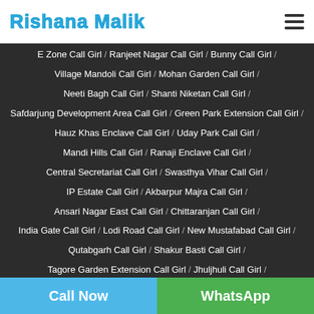Rishana Malik
E Zone Call Girl / Ranjeet Nagar Call Girl / Bunny Call Girl /
Village Mandoli Call Girl / Mohan Garden Call Girl /
Neeti Bagh Call Girl / Shanti Niketan Call Girl /
Safdarjung Development Area Call Girl / Green Park Extension Call Girl /
Hauz Khas Enclave Call Girl / Uday Park Call Girl /
Mandi Hills Call Girl / Ranaji Enclave Call Girl /
Central Secretariat Call Girl / Swasthya Vihar Call Girl /
IP Estate Call Girl / Akbarpur Majra Call Girl /
Ansari Nagar East Call Girl / Chittaranjan Call Girl /
India Gate Call Girl / Lodi Road Call Girl / New Mustafabad Call Girl /
Qutabgarh Call Girl / Shakur Basti Call Girl /
Tagore Garden Extension Call Girl / Jhuljhuli Call Girl /
West End Colony Call Girl / Aarey Road Call Girl / Agripada Call Girl /
Altamount Road Call Girl / Amboli Call Girl /
Call Now | WhatsApp